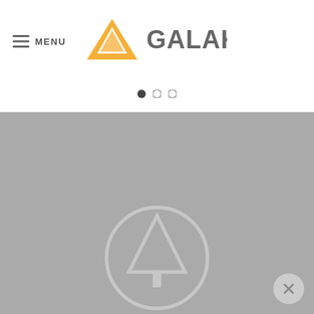[Figure (logo): Galaksi logo with orange triangle/mountain icon and bold gray GALAKSI text]
[Figure (other): Navigation menu button with hamburger icon and MENU text on the left side of header]
[Figure (other): Carousel pagination dots: three dots, first one filled/dark (active), other two hollow/light]
[Figure (other): Large gray placeholder image area with faint Galaksi watermark logo (circle with triangle/tree icon) centered, and a small circular close/X button in the bottom-right corner]